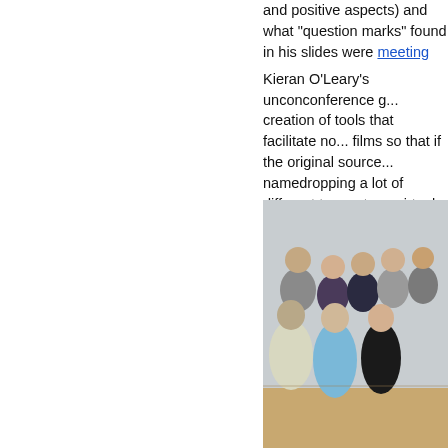and positive aspects) and what "question marks" found in his slides were [link: meeting]
Kieran O'Leary's unconference group discussed the creation of tools that facilitate normalizing films so that if the original source... namedropping a lot of different tools: natron, virtual dub, avi demux. Would be good for someone to write an Adobe Premiere plug-in able to import (read) and export ...
[Figure (photo): Group photo of approximately 12-14 people posing together in what appears to be an office or studio space with a light grey/blue wall background. People are standing in two rows.]